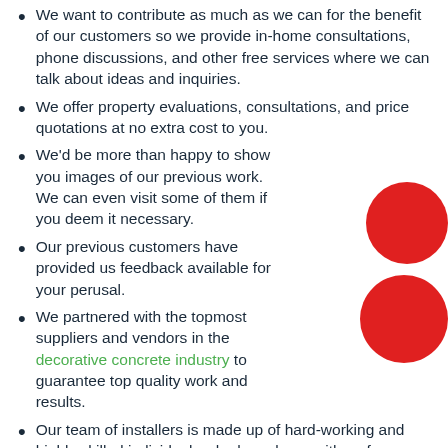We want to contribute as much as we can for the benefit of our customers so we provide in-home consultations, phone discussions, and other free services where we can talk about ideas and inquiries.
We offer property evaluations, consultations, and price quotations at no extra cost to you.
We'd be more than happy to show you images of our previous work. We can even visit some of them if you deem it necessary.
Our previous customers have provided us feedback available for your perusal.
We partnered with the topmost suppliers and vendors in the decorative concrete industry to guarantee top quality work and results.
Our team of installers is made up of hard-working and highly skilled individuals who have been with us for a minimum of 10 years.
We invested in protective gear, efficient equipment, and tools to make sure that we complete your project in the safest, least